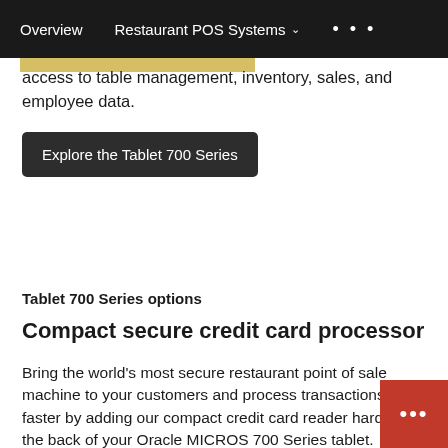Overview   Restaurant POS Systems ▾   • • •
access to table management, inventory, sales, and employee data.
Explore the Tablet 700 Series
Tablet 700 Series options
Compact secure credit card processor
Bring the world's most secure restaurant point of sale machine to your customers and process transactions faster by adding our compact credit card reader hardware to the back of your Oracle MICROS 700 Series tablet. Other accessories include: